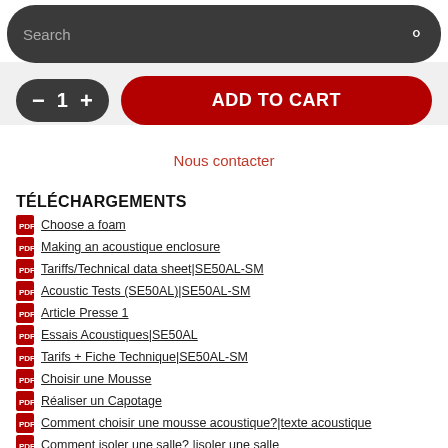[Figure (screenshot): Search bar overlay with dark background and search icon]
[Figure (screenshot): Add to cart UI with quantity selector and red ADD TO CART button]
Nous contacter
TÉLÉCHARGEMENTS
Choose a foam
Making an acoustique enclosure
Tariffs/Technical data sheet|SE50AL-SM
Acoustic Tests (SE50AL)|SE50AL-SM
Article Presse 1
Essais Acoustiques|SE50AL
Tarifs + Fiche Technique|SE50AL-SM
Choisir une Mousse
Réaliser un Capotage
Comment choisir une mousse acoustique?|texte acoustique
Comment isoler une salle? |isoler une salle
Tout savoir sur l'isolation phonique|Isolation phonique pdf